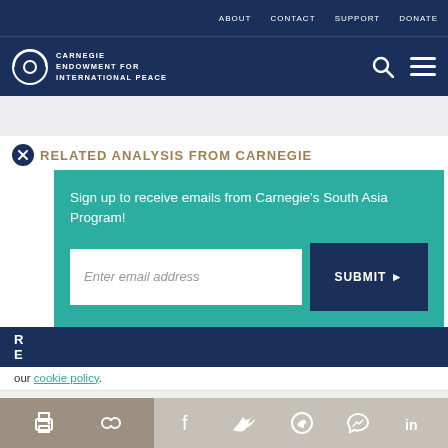ABOUT  CONTACT  SUPPORT  DONATE
[Figure (logo): Carnegie Endowment for International Peace logo with globe icon, search and menu icons on right]
RELATED ANALYSIS FROM CARNEGIE
Sign up to receive emails from Carnegie's South Asia Program!
Enter email address  SUBMIT
our cookie policy.
[Figure (infographic): Social share footer icons: print, link, Facebook, Twitter, WhatsApp, Messenger, LinkedIn]